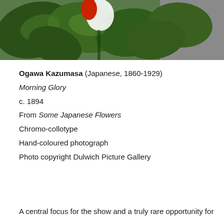[Figure (photo): Close-up photograph of green leaves with a red and white flower element, against a gray background. Appears to be a Japanese Morning Glory plant.]
Ogawa Kazumasa (Japanese, 1860-1929)
Morning Glory
c. 1894
From Some Japanese Flowers
Chromo-collotype
Hand-coloured photograph
Photo copyright Dulwich Picture Gallery
A central focus for the show and a truly rare opportunity for